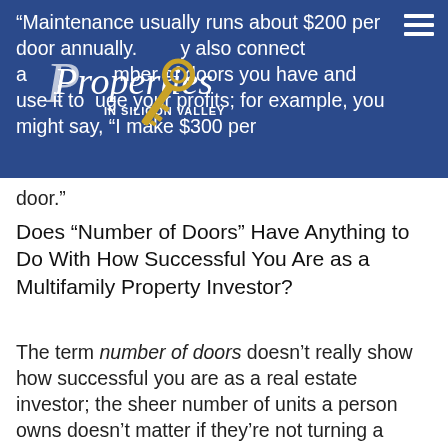“Maintenance usually runs about $200 per door annually. … also connect a dollar amount to the number of doors you have and use it to gauge your profits; for example, you might say, “I make $300 per door.”
[Figure (logo): Properties in Silicon Valley logo with stylized script text and a gold key]
door.”
Does “Number of Doors” Have Anything to Do With How Successful You Are as a Multifamily Property Investor?
The term number of doors doesn’t really show how successful you are as a real estate investor; the sheer number of units a person owns doesn’t matter if they’re not turning a profit on those units. For example, if a person has 1,000 doors, they’re not